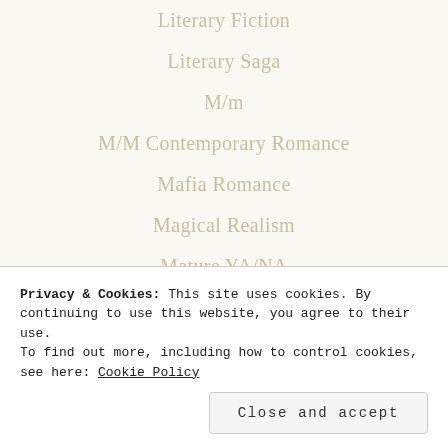Literary Fiction
Literary Saga
M/m
M/M Contemporary Romance
Mafia Romance
Magical Realism
Mature YA/NA
MC Romance
Memoir
Ménage
Privacy & Cookies: This site uses cookies. By continuing to use this website, you agree to their use. To find out more, including how to control cookies, see here: Cookie Policy
Close and accept